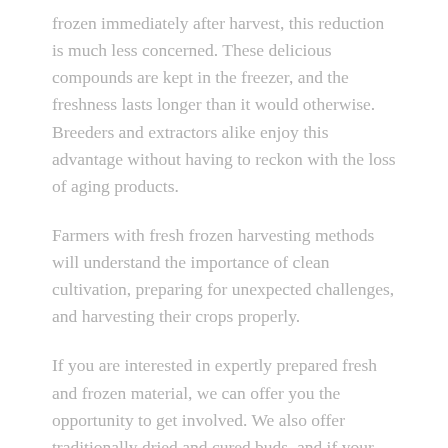frozen immediately after harvest, this reduction is much less concerned. These delicious compounds are kept in the freezer, and the freshness lasts longer than it would otherwise. Breeders and extractors alike enjoy this advantage without having to reckon with the loss of aging products.
Farmers with fresh frozen harvesting methods will understand the importance of clean cultivation, preparing for unexpected challenges, and harvesting their crops properly.
If you are interested in expertly prepared fresh and frozen material, we can offer you the opportunity to get involved. We also offer traditionally dried and cured buds, and if your customer needs us, we can help you fill your stock. Please send us your wholesale account form through our website, and we will contact you immediately for more information. Some breeders promote success by always